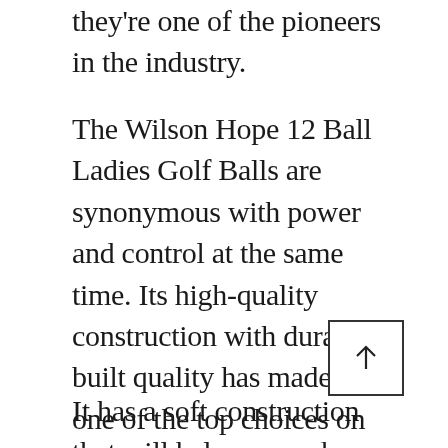they're one of the pioneers in the industry.
The Wilson Hope 12 Ball Ladies Golf Balls are synonymous with power and control at the same time. Its high-quality construction with durable built quality has made it one of the top choices on the list.
It has a soft construction that will help you make long